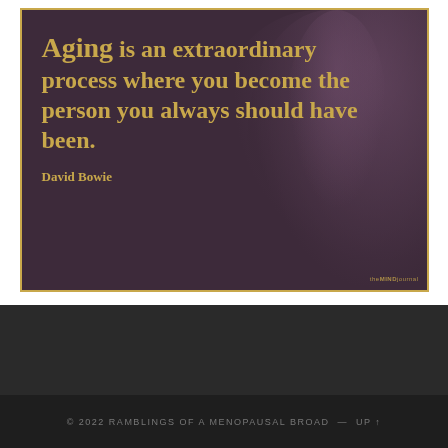[Figure (photo): Inspirational quote image with dark purple background showing a silhouetted profile of an older person. Gold text reads: 'Aging is an extraordinary process where you become the person you always should have been.' Attribution: David Bowie. Small watermark in bottom right: theMINDjournal. Gold border around the image.]
© 2022 RAMBLINGS OF A MENOPAUSAL BROAD — UP ↑